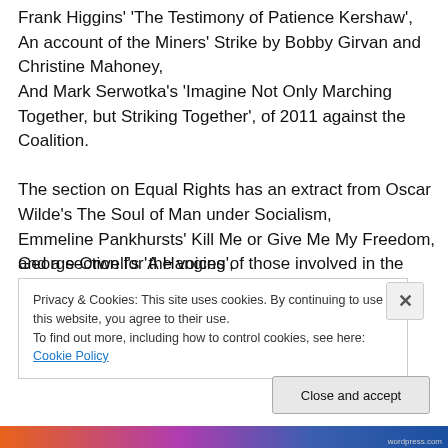Frank Higgins' 'The Testimony of Patience Kershaw', An account of the Miners' Strike by Bobby Girvan and Christine Mahoney, And Mark Serwotka's 'Imagine Not Only Marching Together, but Striking Together', of 2011 against the Coalition.
The section on Equal Rights has an extract from Oscar Wilde's The Soul of Man under Socialism, Emmeline Pankhursts' Kill Me or Give Me My Freedom, George Orwell's 'A Hanging',
and a section for the voices of those involved in the Battle
Privacy & Cookies: This site uses cookies. By continuing to use this website, you agree to their use.
To find out more, including how to control cookies, see here: Cookie Policy
Close and accept